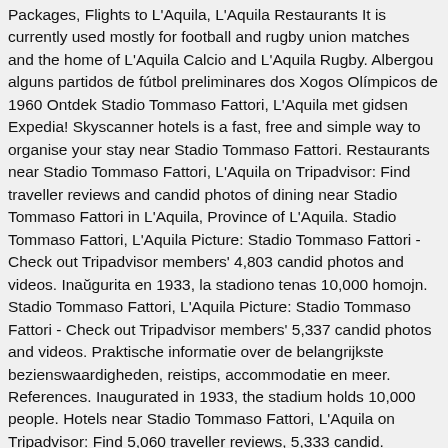Packages, Flights to L'Aquila, L'Aquila Restaurants It is currently used mostly for football and rugby union matches and the home of L'Aquila Calcio and L'Aquila Rugby. Albergou alguns partidos de fútbol preliminares dos Xogos Olímpicos de 1960 Ontdek Stadio Tommaso Fattori, L'Aquila met gidsen Expedia! Skyscanner hotels is a fast, free and simple way to organise your stay near Stadio Tommaso Fattori. Restaurants near Stadio Tommaso Fattori, L'Aquila on Tripadvisor: Find traveller reviews and candid photos of dining near Stadio Tommaso Fattori in L'Aquila, Province of L'Aquila. Stadio Tommaso Fattori, L'Aquila Picture: Stadio Tommaso Fattori - Check out Tripadvisor members' 4,803 candid photos and videos. Inaŭgurita en 1933, la stadiono tenas 10,000 homojn. Stadio Tommaso Fattori, L'Aquila Picture: Stadio Tommaso Fattori - Check out Tripadvisor members' 5,337 candid photos and videos. Praktische informatie over de belangrijkste bezienswaardigheden, reistips, accommodatie en meer. References. Inaugurated in 1933, the stadium holds 10,000 people. Hotels near Stadio Tommaso Fattori, L'Aquila on Tripadvisor: Find 5,060 traveller reviews, 5,333 candid.